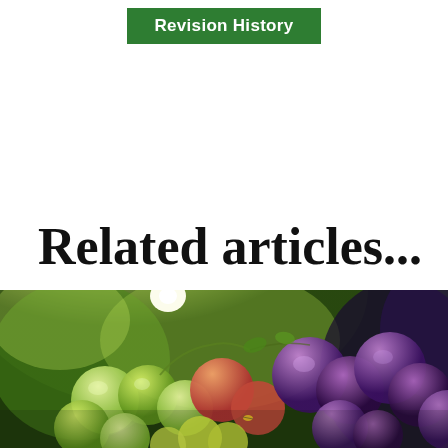Revision History
Related articles...
[Figure (photo): Close-up photograph of bunches of grapes on a vine, with green, red, and purple grapes illuminated by bright sunlight in the background, creating a warm bokeh effect.]